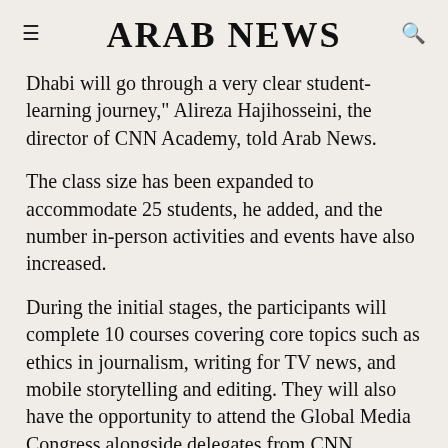ARAB NEWS
Dhabi will go through a very clear student-learning journey," Alireza Hajihosseini, the director of CNN Academy, told Arab News.
The class size has been expanded to accommodate 25 students, he added, and the number in-person activities and events have also increased.
During the initial stages, the participants will complete 10 courses covering core topics such as ethics in journalism, writing for TV news, and mobile storytelling and editing. They will also have the opportunity to attend the Global Media Congress alongside delegates from CNN.